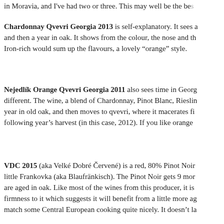in Moravia, and I've had two or three. This may well be the be...
Chardonnay Qvevri Georgia 2013 is self-explanatory. It sees a... and then a year in oak. It shows from the colour, the nose and th... Iron-rich would sum up the flavours, a lovely “orange” style.
Nejedlík Orange Qvevri Georgia 2011 also sees time in Georg... different. The wine, a blend of Chardonnay, Pinot Blanc, Rieslin... year in old oak, and then moves to qvevri, where it macerates fi... following year’s harvest (in this case, 2012). If you like orange...
VDC 2015 (aka Velké Dobré Červené) is a red, 80% Pinot Noir... little Frankovka (aka Blaufränkisch). The Pinot Noir gets 9 mor... are aged in oak. Like most of the wines from this producer, it is... firmness to it which suggests it will benefit from a little more ag... match some Central European cooking quite nicely. It doesn’t la...
The UK importer here, and for the producer below, is Basket Pr... have no connections here) is importing a raft of these truly excit...